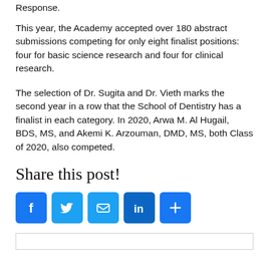Response.
This year, the Academy accepted over 180 abstract submissions competing for only eight finalist positions: four for basic science research and four for clinical research.
The selection of Dr. Sugita and Dr. Vieth marks the second year in a row that the School of Dentistry has a finalist in each category. In 2020, Arwa M. Al Hugail, BDS, MS, and Akemi K. Arzouman, DMD, MS, both Class of 2020, also competed.
Share this post!
[Figure (infographic): Five social media sharing buttons: Facebook (blue, F icon), Twitter (light blue, bird icon), Email (blue, envelope icon), LinkedIn (dark blue, in icon), Share/More (blue, plus icon)]